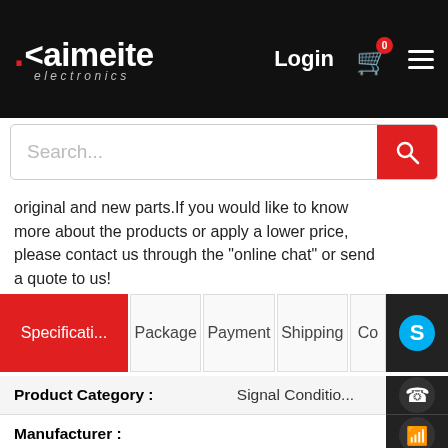[Figure (logo): Kaimeite electronics logo on black header bar with Login, cart and menu icons]
[Figure (screenshot): Search bar with magnifying glass icon on red button]
original and new parts.If you would like to know more about the products or apply a lower price, please contact us through the "online chat" or send a quote to us!
| Specification tab (active) | Package | Payment | Shipping | Co... |
| --- | --- | --- | --- | --- |
| Field | Value |
| --- | --- |
| Product Category : | Signal Conditio... |
| Manufacturer : |  |
| Frequency Range : | 2.4 GHz to 2.484 |
| Operating Temperature Range : | - 40 C to + ... |